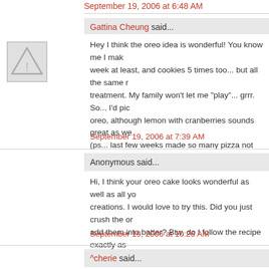September 19, 2006 at 6:48 AM
Gattina Cheung said...
Hey I think the oreo idea is wonderful! You know me I make pizza every week at least, and cookies 5 times too... but all the same recipe no new treatment. My family won't let me "play"... grrr. So... I'd pick the oreo, although lemon with cranberries sounds great as well! (ps... last few weeks made so many pizza not because the theme but family had a crave.mmm)
September 19, 2006 at 7:39 AM
Anonymous said...
Hi, I think your oreo cake looks wonderful as well as all your creations. I would love to try this. Did you just crush the oreo and add them into batter? Btw, do I follow the recipe exactly as the butter one?
September 19, 2006 at 10:26 AM
^cherie said...